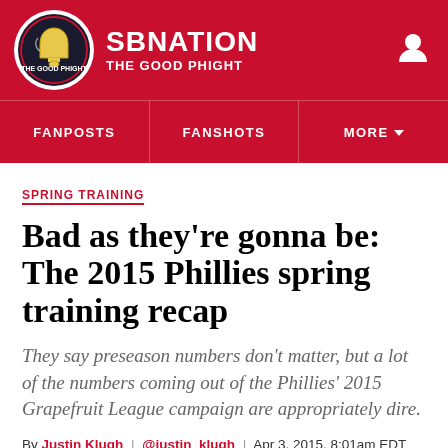SB NATION — THE GOOD PHIGHT
FANPOSTS | FANSHOTS | MORE
SPRING TRAINING
Bad as they're gonna be: The 2015 Phillies spring training recap
They say preseason numbers don't matter, but a lot of the numbers coming out of the Phillies' 2015 Grapefruit League campaign are appropriately dire.
By Justin Klugh | @justin_klugh | Apr 3, 2015, 8:01am EDT